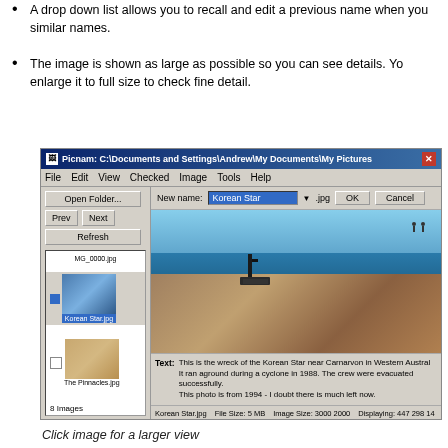A drop down list allows you to recall and edit a previous name when you have similar names.
The image is shown as large as possible so you can see details. You can enlarge it to full size to check fine detail.
[Figure (screenshot): Screenshot of Picnam application showing file browser with Korean Star.jpg selected, a thumbnail of the Korean Star shipwreck image displayed large on the right, with text describing the image, and a status bar at the bottom.]
Click image for a larger view
Add Text